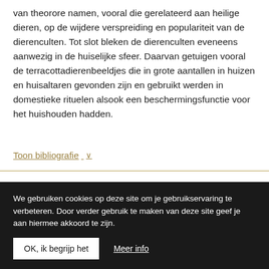van theorore namen, vooral die gerelateerd aan heilige dieren, op de wijdere verspreiding en populariteit van de dierenculten. Tot slot bleken de dierenculten eveneens aanwezig in de huiselijke sfeer. Daarvan getuigen vooral de terracottadierenbeeldjes die in grote aantallen in huizen en huisaltaren gevonden zijn en gebruikt werden in domestieke rituelen alsook een beschermingsfunctie voor het huishouden hadden.
Toon bibliografie ∨
Download scriptie ›
We gebruiken cookies op deze site om je gebruikservaring te verbeteren. Door verder gebruik te maken van deze site geef je aan hiermee akkoord te zijn.
OK, ik begrijp het
Meer info